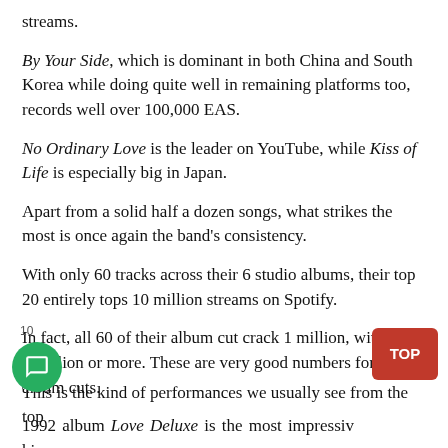streams.
By Your Side, which is dominant in both China and South Korea while doing quite well in remaining platforms too, records well over 100,000 EAS.
No Ordinary Love is the leader on YouTube, while Kiss of Life is especially big in Japan.
Apart from a solid half a dozen songs, what strikes the most is once again the band's consistency.
With only 60 tracks across their 6 studio albums, their top 20 entirely tops 10 million streams on Spotify.
In fact, all 60 of their album cut crack 1 million, with 53 at 3 million or more. These are very good numbers for legacy album cuts.
1992 album Love Deluxe is the most impressive in this category with its first 8 tracks over 8 million Spotify streams each.
This is the kind of performances we usually see from the top